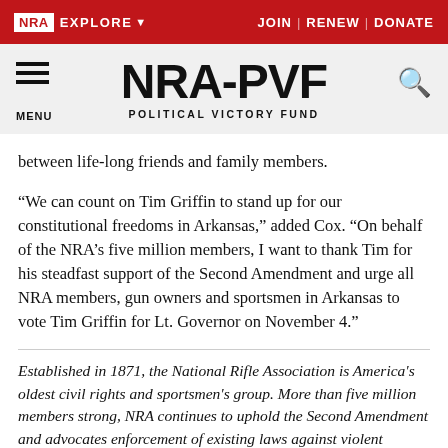NRA EXPLORE | JOIN | RENEW | DONATE
[Figure (logo): NRA-PVF Political Victory Fund logo with hamburger menu and search icon]
between life-long friends and family members.
“We can count on Tim Griffin to stand up for our constitutional freedoms in Arkansas,” added Cox. “On behalf of the NRA’s five million members, I want to thank Tim for his steadfast support of the Second Amendment and urge all NRA members, gun owners and sportsmen in Arkansas to vote Tim Griffin for Lt. Governor on November 4.”
Established in 1871, the National Rifle Association is America's oldest civil rights and sportsmen's group. More than five million members strong, NRA continues to uphold the Second Amendment and advocates enforcement of existing laws against violent offenders to reduce crime. The Association remains the nation's leader in firearm education and training for law-